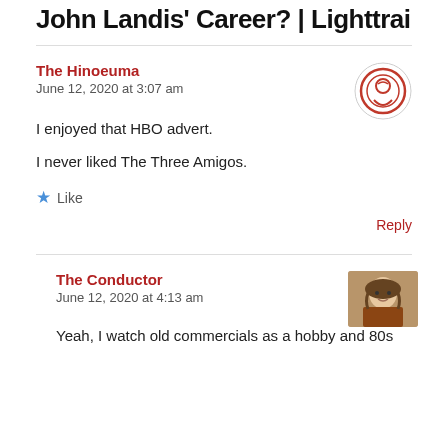John Landis' Career? | Lighttrain
The Hinoeuma
June 12, 2020 at 3:07 am
I enjoyed that HBO advert.
I never liked The Three Amigos.
Like
Reply
The Conductor
June 12, 2020 at 4:13 am
Yeah, I watch old commercials as a hobby and 80s